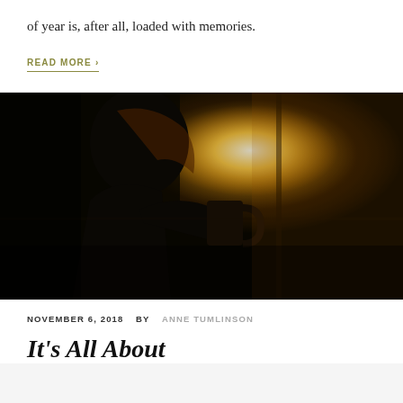of year is, after all, loaded with memories.
READ MORE ›
[Figure (photo): A silhouetted woman drinking from a mug, backlit by warm golden sunlight through a window, dark moody tones]
NOVEMBER 6, 2018  BY  ANNE TUMLINSON
It's All About